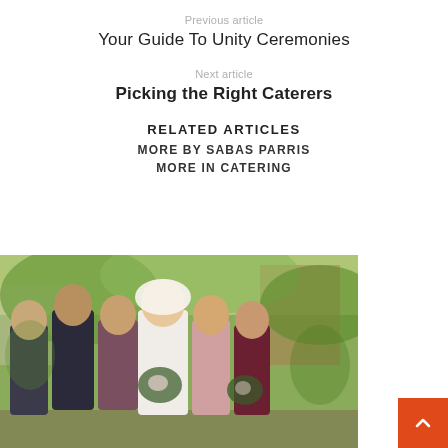Previous article
Your Guide To Unity Ceremonies
Next article
Picking the Right Caterers
RELATED ARTICLES
MORE BY SABAS PARRIS
MORE IN CATERING
[Figure (photo): Wedding party group photo outdoors with greenery background; bride in white veil with bouquet, groom and groomsmen in suits, bridesmaids in colored dresses]